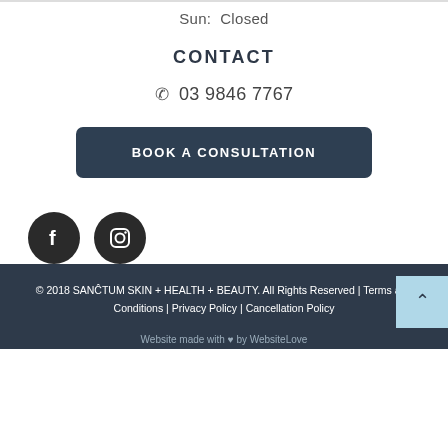Sun:  Closed
CONTACT
03 9846 7767
BOOK A CONSULTATION
[Figure (logo): Facebook and Instagram social media icons (dark circular buttons)]
© 2018 SANCTUM SKIN + HEALTH + BEAUTY. All Rights Reserved | Terms and Conditions | Privacy Policy | Cancellation Policy
Website made with ♥ by WebsiteLove